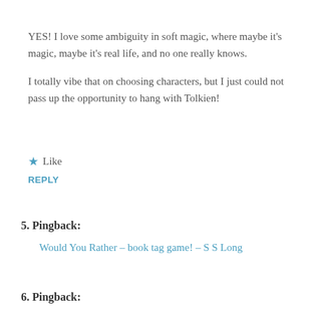YES! I love some ambiguity in soft magic, where maybe it's magic, maybe it's real life, and no one really knows.
I totally vibe that on choosing characters, but I just could not pass up the opportunity to hang with Tolkien!
★ Like
REPLY
5. Pingback:
Would You Rather – book tag game! – S S Long
6. Pingback: